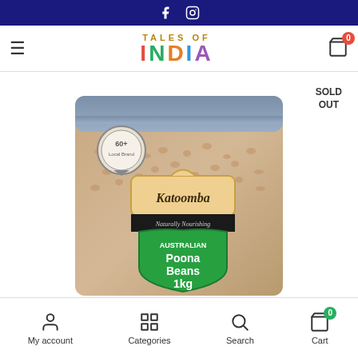Social media icons: Facebook, Instagram
TALES OF INDIA — Menu, Cart (0)
SOLD OUT
[Figure (photo): Katoomba brand bag of Australian Poona Beans 1kg, filled with small round beige beans, with a green shield-shaped label and a circular certification badge]
My account | Categories | Search | Cart (0)